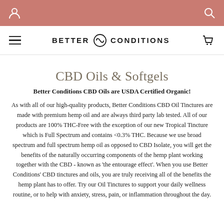Better Conditions — website header with account and search icons
BETTER ∞ CONDITIONS — navigation bar with hamburger menu and cart
CBD Oils & Softgels
Better Conditions CBD Oils are USDA Certified Organic!
As with all of our high-quality products, Better Conditions CBD Oil Tinctures are made with premium hemp oil and are always third party lab tested. All of our products are 100% THC-Free with the exception of our new Tropical Tincture which is Full Spectrum and contains <0.3% THC. Because we use broad spectrum and full spectrum hemp oil as opposed to CBD Isolate, you will get the benefits of the naturally occurring components of the hemp plant working together with the CBD - known as 'the entourage effect'. When you use Better Conditions' CBD tinctures and oils, you are truly receiving all of the benefits the hemp plant has to offer. Try our Oil Tinctures to support your daily wellness routine, or to help with anxiety, stress, pain, or inflammation throughout the day.